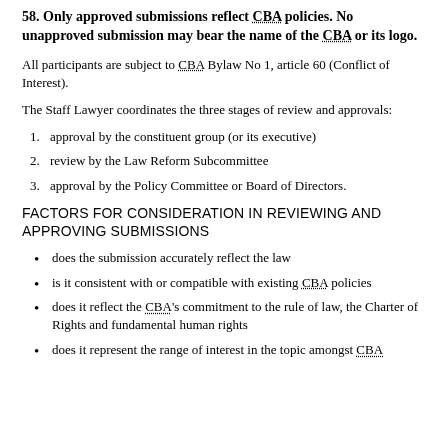58. Only approved submissions reflect CBA policies. No unapproved submission may bear the name of the CBA or its logo.
All participants are subject to CBA Bylaw No 1, article 60 (Conflict of Interest).
The Staff Lawyer coordinates the three stages of review and approvals:
1. approval by the constituent group (or its executive)
2. review by the Law Reform Subcommittee
3. approval by the Policy Committee or Board of Directors.
FACTORS FOR CONSIDERATION IN REVIEWING AND APPROVING SUBMISSIONS
does the submission accurately reflect the law
is it consistent with or compatible with existing CBA policies
does it reflect the CBA's commitment to the rule of law, the Charter of Rights and fundamental human rights
does it represent the range of interest in the topic amongst CBA